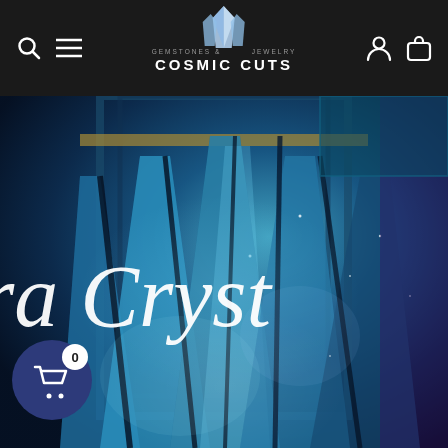[Figure (logo): Cosmic Cuts Gemstones & Jewelry website header with logo featuring crystal icon, search icon, hamburger menu, user icon, bag icon on dark background]
[Figure (photo): Close-up of blue crystal/gemstone with text overlay reading 'ra Cryst' (partial, cropped), cosmic/galactic style background in blues and teals]
[Figure (other): Floating cart button showing shopping cart icon with badge showing 0 items]